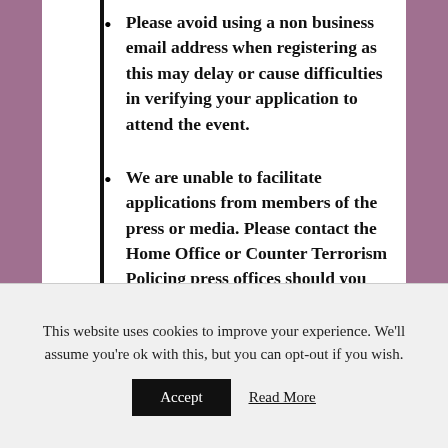Please avoid using a non business email address when registering as this may delay or cause difficulties in verifying your application to attend the event.
We are unable to facilitate applications from members of the press or media. Please contact the Home Office or Counter Terrorism Policing press offices should you wish to discuss the event.
This website uses cookies to improve your experience. We'll assume you're ok with this, but you can opt-out if you wish.